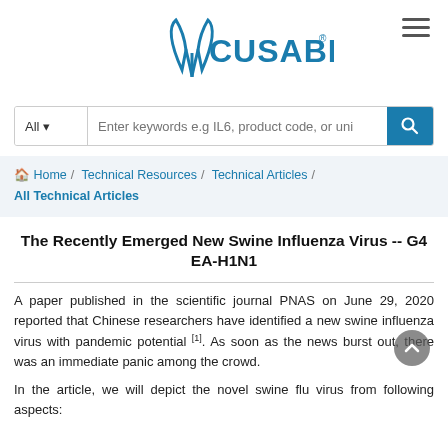[Figure (logo): CUSABIO logo with stylized blue bird/rabbit icon and teal CUSABIO text]
[Figure (screenshot): Search bar with 'All' dropdown and placeholder text 'Enter keywords e.g IL6, product code, or uni' and blue search button]
Home / Technical Resources / Technical Articles / All Technical Articles
The Recently Emerged New Swine Influenza Virus -- G4 EA-H1N1
A paper published in the scientific journal PNAS on June 29, 2020 reported that Chinese researchers have identified a new swine influenza virus with pandemic potential [1]. As soon as the news burst out, there was an immediate panic among the crowd.
In the article, we will depict the novel swine flu virus from following aspects: